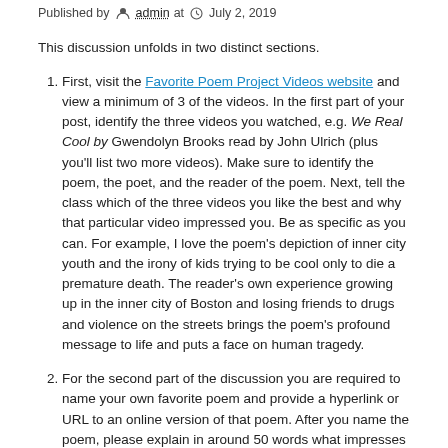Published by admin at July 2, 2019
This discussion unfolds in two distinct sections.
First, visit the Favorite Poem Project Videos website and view a minimum of 3 of the videos. In the first part of your post, identify the three videos you watched, e.g. We Real Cool by Gwendolyn Brooks read by John Ulrich (plus you'll list two more videos). Make sure to identify the poem, the poet, and the reader of the poem. Next, tell the class which of the three videos you like the best and why that particular video impressed you. Be as specific as you can. For example, I love the poem's depiction of inner city youth and the irony of kids trying to be cool only to die a premature death. The reader's own experience growing up in the inner city of Boston and losing friends to drugs and violence on the streets brings the poem's profound message to life and puts a face on human tragedy.
For the second part of the discussion you are required to name your own favorite poem and provide a hyperlink or URL to an online version of that poem. After you name the poem, please explain in around 50 words what impresses you so